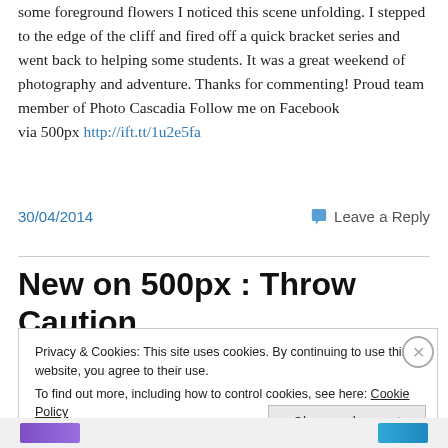some foreground flowers I noticed this scene unfolding. I stepped to the edge of the cliff and fired off a quick bracket series and went back to helping some students. It was a great weekend of photography and adventure. Thanks for commenting! Proud team member of Photo Cascadia Follow me on Facebook via 500px http://ift.tt/1u2e5fa
30/04/2014
Leave a Reply
New on 500px : Throw Caution
Privacy & Cookies: This site uses cookies. By continuing to use this website, you agree to their use.
To find out more, including how to control cookies, see here: Cookie Policy
Close and accept